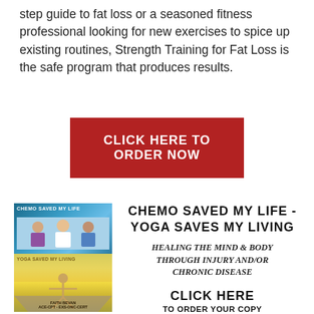step guide to fat loss or a seasoned fitness professional looking for new exercises to spice up existing routines, Strength Training for Fat Loss is the safe program that produces results.
[Figure (other): Red button with white bold text: CLICK HERE TO ORDER NOW]
[Figure (photo): Book cover showing two stacked images: top half shows 'Chemo Saved My Life' with photo of people in medical setting, bottom half shows 'Yoga Saved My Living' with person doing yoga on a road at sunset. Author: Faith Bevan.]
CHEMO SAVED MY LIFE - YOGA SAVES MY LIVING
HEALING THE MIND & BODY THROUGH INJURY AND/OR CHRONIC DISEASE
CLICK HERE TO ORDER YOUR COPY